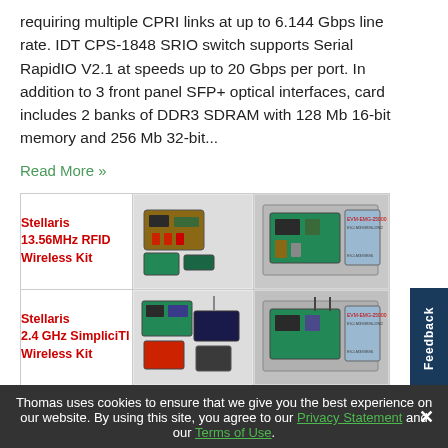requiring multiple CPRI links at up to 6.144 Gbps line rate. IDT CPS-1848 SRIO switch supports Serial RapidIO V2.1 at speeds up to 20 Gbps per port. In addition to 3 front panel SFP+ optical interfaces, card includes 2 banks of DDR3 SDRAM with 128 Mb 16-bit memory and 256 Mb 32-bit...
Read More »
[Figure (photo): Product listing table showing three Stellaris wireless kits: 13.56MHz RFID Wireless Kit, 2.4 GHz SimpliciTI Wireless Kit, and ZigBee Networking Kit, each with product photos]
Stellaris 13.56MHz RFID Wireless Kit
Stellaris 2.4 GHz SimpliciTI Wireless Kit
Stellaris ZigBee® Networking Kit
Thomas uses cookies to ensure that we give you the best experience on our website. By using this site, you agree to our Privacy Statement and our Terms of Use.